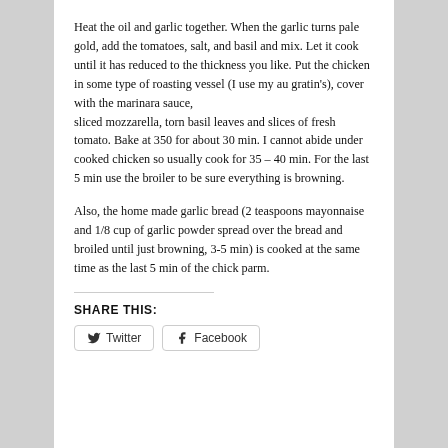Heat the oil and garlic together. When the garlic turns pale gold, add the tomatoes, salt, and basil and mix. Let it cook until it has reduced to the thickness you like. Put the chicken in some type of roasting vessel (I use my au gratin's), cover with the marinara sauce, sliced mozzarella, torn basil leaves and slices of fresh tomato. Bake at 350 for about 30 min. I cannot abide under cooked chicken so usually cook for 35 – 40 min. For the last 5 min use the broiler to be sure everything is browning.
Also, the home made garlic bread (2 teaspoons mayonnaise and 1/8 cup of garlic powder spread over the bread and broiled until just browning, 3-5 min) is cooked at the same time as the last 5 min of the chick parm.
SHARE THIS:
[Figure (other): Share buttons for Twitter and Facebook]